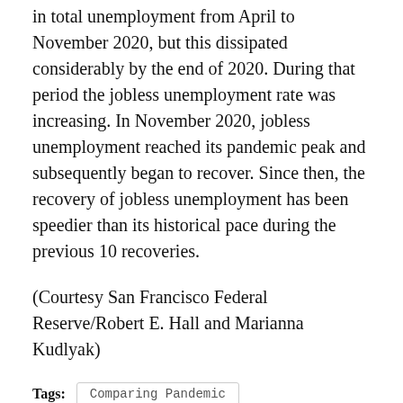in total unemployment from April to November 2020, but this dissipated considerably by the end of 2020. During that period the jobless unemployment rate was increasing. In November 2020, jobless unemployment reached its pandemic peak and subsequently began to recover. Since then, the recovery of jobless unemployment has been speedier than its historical pace during the previous 10 recoveries.
(Courtesy San Francisco Federal Reserve/Robert E. Hall and Marianna Kudlyak)
Tags: Comparing Pandemic | U.S. Recoveries | Unemployment
Related Posts